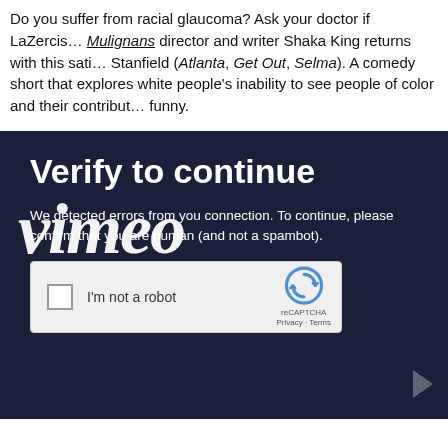Do you suffer from racial glaucoma? Ask your doctor if LaZercis... Mulignans director and writer Shaka King returns with this sati... Stanfield (Atlanta, Get Out, Selma). A comedy short that explores white people's inability to see people of color and their contribut... funny.
Verify to continue
[Figure (logo): Vimeo logo watermark in large white italic bold text overlaid on dark navy background]
We detected errors from you co... confirm that y... human (and not a spambot).
[Figure (screenshot): reCAPTCHA widget with checkbox labeled 'I'm not a robot' on light gray background with reCAPTCHA logo and Privacy/Terms links]